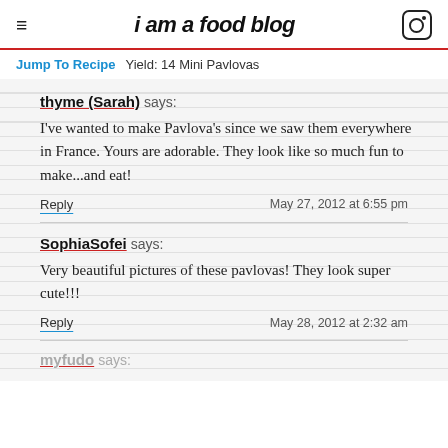i am a food blog
Jump To Recipe   Yield: 14 Mini Pavlovas
thyme (Sarah) says:
I've wanted to make Pavlova's since we saw them everywhere in France. Yours are adorable. They look like so much fun to make...and eat!
Reply   May 27, 2012 at 6:55 pm
SophiaSofei says:
Very beautiful pictures of these pavlovas! They look super cute!!!
Reply   May 28, 2012 at 2:32 am
myfudo says: